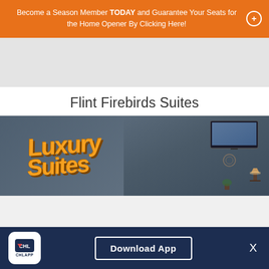Become a Season Member TODAY and Guarantee Your Seats for the Home Opener By Clicking Here!
Flint Firebirds Suites
[Figure (photo): Interior photo of Flint Firebirds luxury suite showing a 'Luxury Suites' graffiti-style wall mural in orange and yellow on the left, and a blue-gray room with a wall-mounted TV, decorative elements, a table, and wall lamp on the right.]
Download App
X